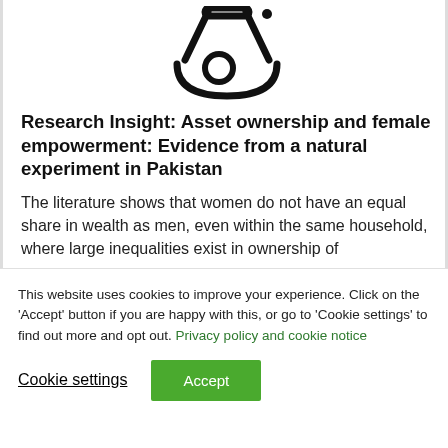[Figure (logo): Flask/beaker icon — a stylized laboratory flask outline in black, thick strokes]
Research Insight: Asset ownership and female empowerment: Evidence from a natural experiment in Pakistan
The literature shows that women do not have an equal share in wealth as men, even within the same household, where large inequalities exist in ownership of
This website uses cookies to improve your experience. Click on the 'Accept' button if you are happy with this, or go to 'Cookie settings' to find out more and opt out. Privacy policy and cookie notice
Cookie settings   Accept